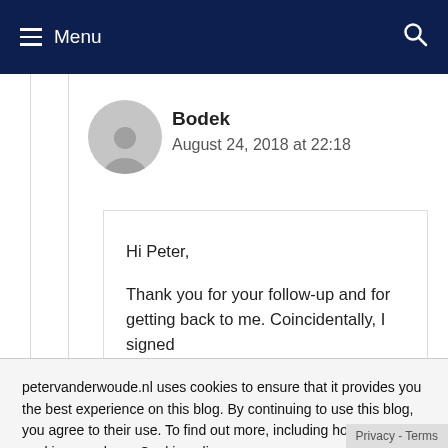Menu
Bodek
August 24, 2018 at 22:18
Hi Peter,

Thank you for your follow-up and for getting back to me. Coincidentally, I signed
Regards,
Bodek
petervanderwoude.nl uses cookies to ensure that it provides you the best experience on this blog. By continuing to use this blog, you agree to their use. To find out more, including how to control cookies, see here: Cookie policy
Close and accept
Privacy - Terms